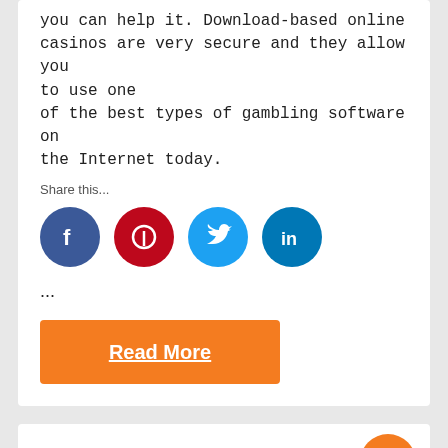you can help it. Download-based online casinos are very secure and they allow you to use one of the best types of gambling software on the Internet today.
Share this...
[Figure (infographic): Four social media share icons in circles: Facebook (dark blue, f), Pinterest (dark red, P), Twitter (light blue, bird), LinkedIn (teal, in)]
...
Read More
Online Casinos